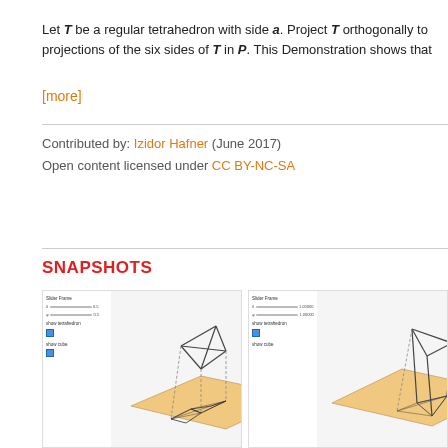Let T be a regular tetrahedron with side a. Project T orthogonally to projections of the six sides of T in P. This Demonstration shows that
[more]
Contributed by: Izidor Hafner (June 2017)
Open content licensed under CC BY-NC-SA
SNAPSHOTS
[Figure (screenshot): Interactive Mathematica Demonstration showing a 3D wireframe tetrahedron projected onto a flat plane (peach/tan colored square), with sliders and checkboxes for controls on the left side. Left snapshot view.]
[Figure (screenshot): Interactive Mathematica Demonstration showing a 3D wireframe tetrahedron projected onto a flat plane from a different angle, with controls on the left. Right snapshot view.]